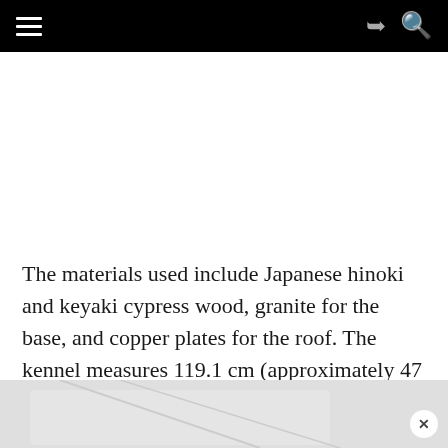The materials used include Japanese hinoki and keyaki cypress wood, granite for the base, and copper plates for the roof. The kennel measures 119.1 cm (approximately 47 inches) tall and 122.5 cm (48 inches) wide, while the interior opening is 41 cm (16 inches) tall and 39.4 cm (15 inches) wide.
[Figure (photo): Bottom portion of a photo showing a light-colored surface or object, partially visible at the bottom of the page, with a close/X button overlay.]